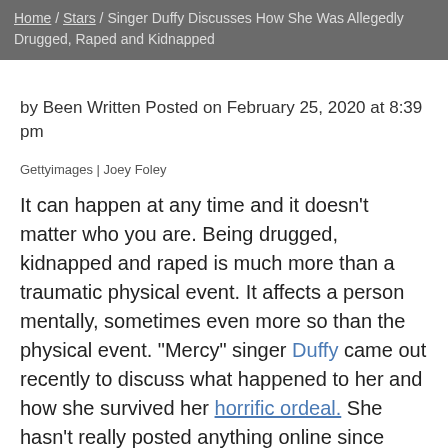Home / Stars / Singer Duffy Discusses How She Was Allegedly Drugged, Raped and Kidnapped
by Been Written Posted on February 25, 2020 at 8:39 pm
Gettyimages | Joey Foley
It can happen at any time and it doesn't matter who you are. Being drugged, kidnapped and raped is much more than a traumatic physical event. It affects a person mentally, sometimes even more so than the physical event. "Mercy" singer Duffy came out recently to discuss what happened to her and how she survived her horrific ordeal. She hasn't really posted anything online since 2017...